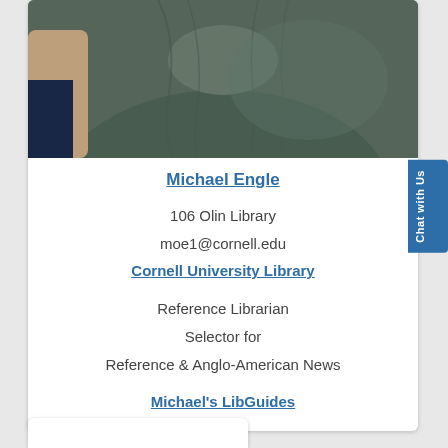[Figure (photo): Cropped photo showing the torso/chest area of a person wearing a dark olive/grey t-shirt, with part of another person's arm visible on the left.]
Michael Engle
106 Olin Library
moe1@cornell.edu
Cornell University Library
Reference Librarian
Selector for
Reference & Anglo-American News
Michael's LibGuides